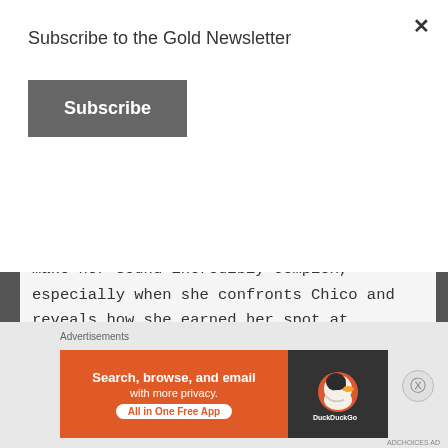Subscribe to the Gold Newsletter
Subscribe
I want to get to know Saya and Maria more. The glimpses we have of Maria make her sound incredibly complex, especially when she confronts Chico and reveals how she earned her spot at King's Dominion.
Advertisements
[Figure (other): Blue advertisement banner with circular character silhouettes and decorative dots]
Advertisements
[Figure (other): DuckDuckGo advertisement banner: orange section with text 'Search, browse, and email with more privacy. All in One Free App', dark section with DuckDuckGo duck logo]